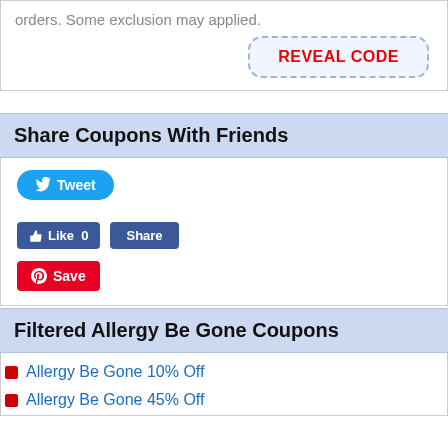orders. Some exclusion may applied.
REVEAL CODE
Share Coupons With Friends
[Figure (screenshot): Social sharing buttons: Tweet (Twitter), Like 0 and Share (Facebook), Save (Pinterest)]
Filtered Allergy Be Gone Coupons
Allergy Be Gone 10% Off
Allergy Be Gone 45% Off